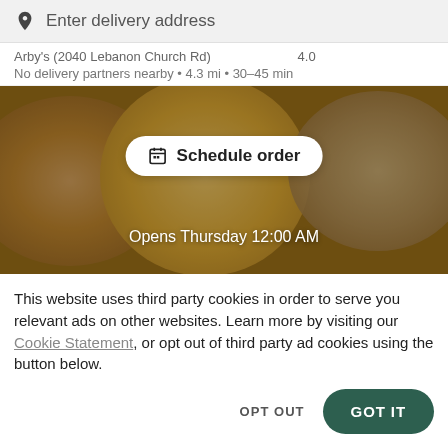Enter delivery address
Arby's (2040 Lebanon Church Rd)
No delivery partners nearby • 4.3 mi • 30–45 min
[Figure (photo): Food delivery app screenshot showing plates of food with a 'Schedule order' button overlay and 'Opens Thursday 12:00 AM' text]
This website uses third party cookies in order to serve you relevant ads on other websites. Learn more by visiting our Cookie Statement, or opt out of third party ad cookies using the button below.
OPT OUT
GOT IT